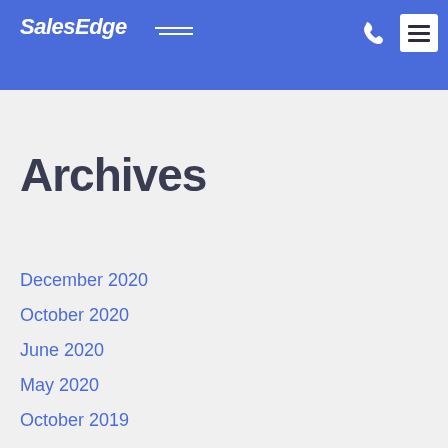SalesEdge
Recent Comments
Archives
December 2020
October 2020
June 2020
May 2020
October 2019
October 2018